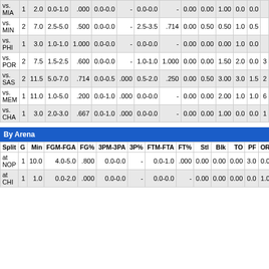| Split | G | Min | FGM-FGA | FG% | 3PM-3PA | 3P% | FTM-FTA | FT% | Stl | Blk | TO | PF | OR | DR |
| --- | --- | --- | --- | --- | --- | --- | --- | --- | --- | --- | --- | --- | --- | --- |
| vs. MIA | 1 | 2.0 | 0.0-1.0 | .000 | 0.0-0.0 | - | 0.0-0.0 | - | 0.00 | 0.00 | 1.00 | 0.0 | 0.0 |  |
| vs. MIN | 2 | 7.0 | 2.5-5.0 | .500 | 0.0-0.0 | - | 2.5-3.5 | .714 | 0.00 | 0.50 | 0.50 | 1.0 | 0.5 |  |
| vs. PHI | 1 | 3.0 | 1.0-1.0 | 1.000 | 0.0-0.0 | - | 0.0-0.0 | - | 0.00 | 0.00 | 0.00 | 1.0 | 0.0 |  |
| vs. POR | 2 | 7.5 | 1.5-2.5 | .600 | 0.0-0.0 | - | 1.0-1.0 | 1.000 | 0.00 | 0.00 | 1.50 | 2.0 | 0.0 | 3 |
| vs. SAS | 2 | 11.5 | 5.0-7.0 | .714 | 0.0-0.5 | .000 | 0.5-2.0 | .250 | 0.00 | 0.50 | 3.00 | 3.0 | 1.5 | 2 |
| vs. MEM | 1 | 11.0 | 1.0-5.0 | .200 | 0.0-1.0 | .000 | 0.0-0.0 | - | 0.00 | 0.00 | 2.00 | 1.0 | 1.0 | 6 |
| vs. CHA | 1 | 3.0 | 2.0-3.0 | .667 | 0.0-1.0 | .000 | 0.0-0.0 | - | 0.00 | 0.00 | 1.00 | 0.0 | 0.0 | 1 |
By Arena
| Split | G | Min | FGM-FGA | FG% | 3PM-3PA | 3P% | FTM-FTA | FT% | Stl | Blk | TO | PF | OR | DR |
| --- | --- | --- | --- | --- | --- | --- | --- | --- | --- | --- | --- | --- | --- | --- |
| at NOP | 1 | 10.0 | 4.0-5.0 | .800 | 0.0-0.0 | - | 0.0-1.0 | .000 | 0.00 | 0.00 | 0.00 | 3.0 | 0.0 | 0.0 |
| at CHI | 1 | 1.0 | 0.0-2.0 | .000 | 0.0-0.0 | - | 0.0-0.0 | - | 0.00 | 0.00 | 0.00 | 0.0 | 1.0 | 0.0 |